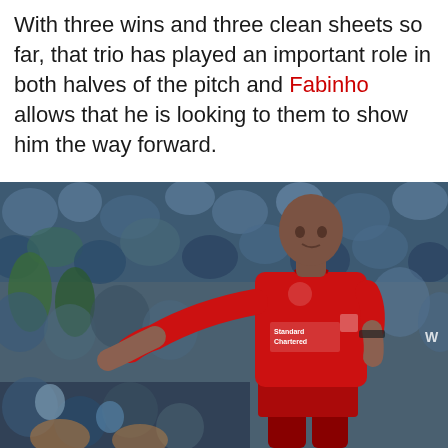With three wins and three clean sheets so far, that trio has played an important role in both halves of the pitch and Fabinho allows that he is looking to them to show him the way forward.
[Figure (photo): A footballer wearing a red Liverpool FC jersey with Standard Chartered sponsor, gesturing with his left arm extended, with a blurred crowd in the background.]